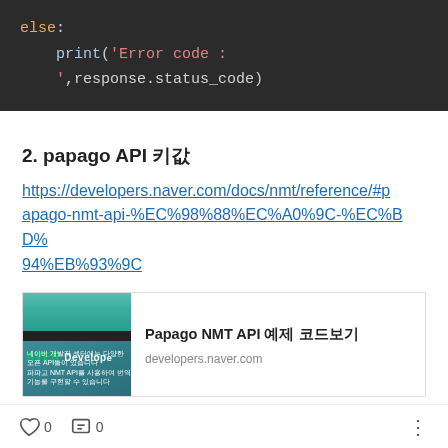[Figure (screenshot): Dark-themed code block showing Python else clause with print statement for error code handling]
2. papago API 키값
https://developers.naver.com/docs/nmt/reference/#papago-nmt-api-%EC%98%88%EC%A0%9C-%EC%BD%94%EB%93%9C
[Figure (screenshot): Link preview card for Papago NMT API page on developers.naver.com with NAVER Developers image]
- 네이버 파파고 오픈 API 키값
client  id = "5sfTzHnrTT64IxBAn9CE"
0  0